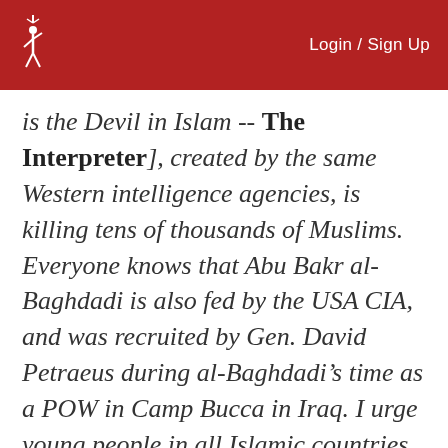Login / Sign Up
is the Devil in Islam -- The Interpreter], created by the same Western intelligence agencies, is killing tens of thousands of Muslims. Everyone knows that Abu Bakr al-Baghdadi is also fed by the USA CIA, and was recruited by Gen. David Petraeus during al-Baghdadi’s time as a POW in Camp Bucca in Iraq. I urge young people in all Islamic countries to open their eyes, to not